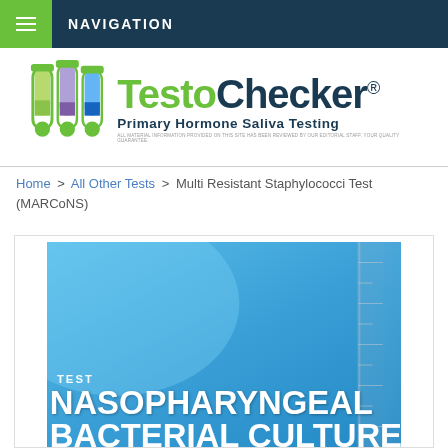NAVIGATION
[Figure (logo): TestoChecker Primary Hormone Saliva Testing logo with test tubes]
Home > All Other Tests > Multi Resistant Staphylococci Test (MARCoNS)
[Figure (photo): Blue gradient product image with text: TEST NASOPHARYNGEAL BACTERIAL CULTURE]